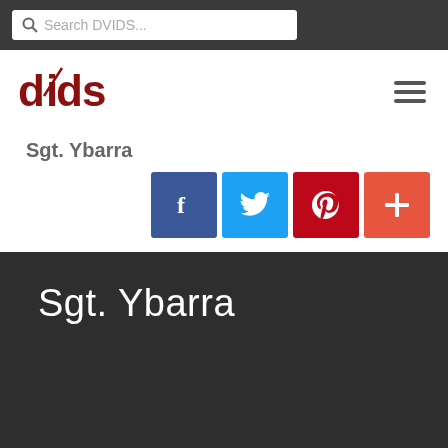Search DVIDS...
[Figure (logo): DVIDS logo in dark red with lightning bolt through the 'i']
Sgt. Ybarra
[Figure (infographic): Social share buttons: Facebook, Twitter, Pinterest, and a plus/share button]
Sgt. Ybarra